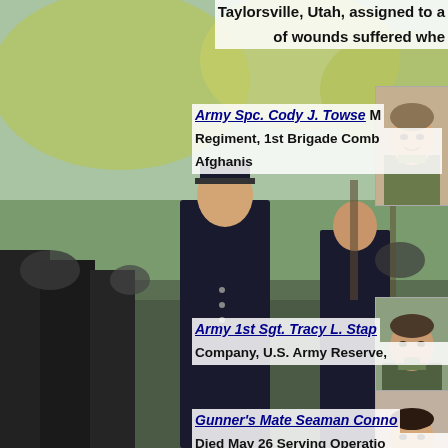[Figure (photo): Background photo of military ceremony with soldiers in dress uniform saluting, with crowd and trees in background]
Taylorsville, Utah, assigned to a
of wounds suffered whe
[Figure (photo): Portrait photo of Army Spc. Cody J. Towse in uniform, smiling]
Army Spc. Cody J. Towse M
Regiment, 1st Brigade Comb
Afghanis
[Figure (photo): Portrait photo of Army 1st Sgt. Tracy L. Stap in uniform]
Army 1st Sgt. Tracy L. Stap
Company, U.S. Army Reserve,
[Figure (photo): Portrait photo of Gunner's Mate Seaman Connor in uniform]
Gunner's Mate Seaman Conno
Died May 26 Serving Operatio
died May 26 from a noncomb